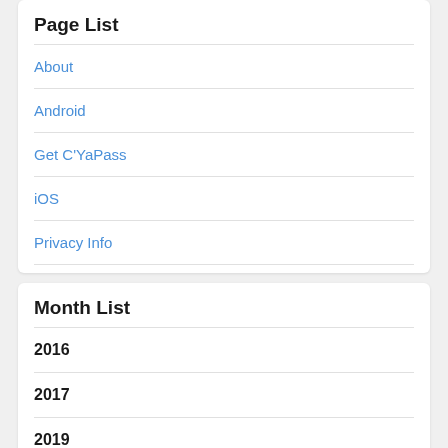Page List
About
Android
Get C'YaPass
iOS
Privacy Info
Month List
2016
2017
2019
2021